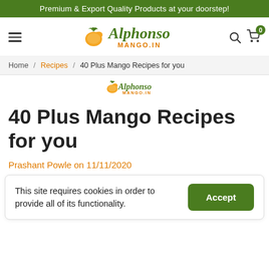Premium & Export Quality Products at your doorstep!
[Figure (logo): Alphonso Mango.in logo with mango fruit illustration and text]
Home / Recipes / 40 Plus Mango Recipes for you
[Figure (logo): Alphonso Mango.in watermark logo]
40 Plus Mango Recipes for you
Prashant Powle on 11/11/2020
This site requires cookies in order to provide all of its functionality.